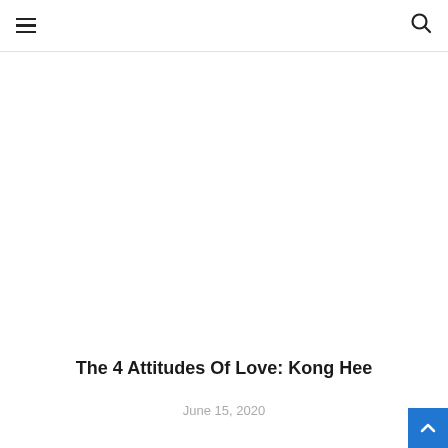≡  🔍
The 4 Attitudes Of Love: Kong Hee
June 15, 2020